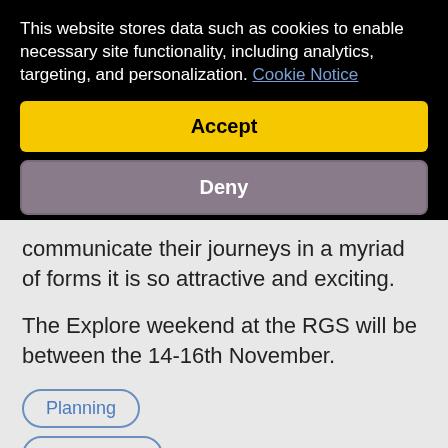This website stores data such as cookies to enable necessary site functionality, including analytics, targeting, and personalization. Cookie Notice
Accept
Deny
communicate their journeys in a myriad of forms it is so attractive and exciting.
The Explore weekend at the RGS will be between the 14-16th November.
Planning
Expeditions